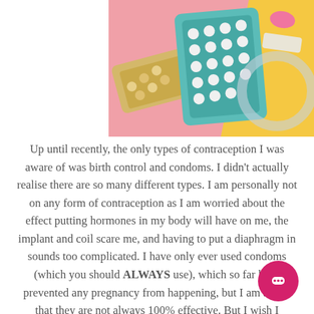[Figure (photo): Photo of various contraception methods including pill blister packs (one gold/white, one teal/white), what appears to be a patch or device, and a clear circular ring, arranged on a pink and yellow background]
Up until recently, the only types of contraception I was aware of was birth control and condoms. I didn't actually realise there are so many different types. I am personally not on any form of contraception as I am worried about the effect putting hormones in my body will have on me, the implant and coil scare me, and having to put a diaphragm in sounds too complicated. I have only ever used condoms (which you should ALWAYS use), which so far have prevented any pregnancy from happening, but I am aware that they are not always 100% effective. But I wish I had been more aware of all the different types of contraception that are out there, which I get